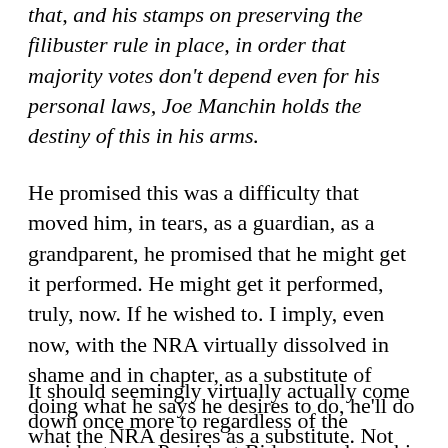that, and his stamps on preserving the filibuster rule in place, in order that majority votes don't depend even for his personal laws, Joe Manchin holds the destiny of this in his arms.
He promised this was a difficulty that moved him, in tears, as a guardian, as a grandparent, he promised that he might get it performed. He might get it performed, truly, now. If he wished to. I imply, even now, with the NRA virtually dissolved in shame and in chapter, as a substitute of doing what he says he desires to do, he'll do what the NRA desires as a substitute. Not even the NRA's members need that, however Joe Manchin does. Due to that, he personally will cease the entire nation from getting any substantive aid from this factor that plagues us nonetheless.
It should seemingly virtually actually come down once more to regardless of the president now President Biden can do on his personal with out Congress, which isn't a lot. And that's as a